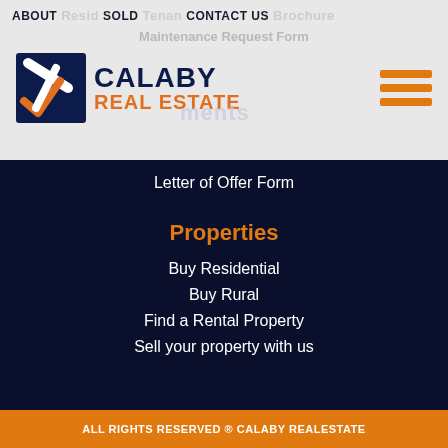ABOUT  SOLD  CONTACT US  Brochure  Residences  Tenants  Maintenance Request Form
[Figure (logo): Calaby Real Estate logo: dark navy square with orange and white checkmark/arrow, company name CALABY REAL ESTATE in navy and orange text, and orange hamburger menu icon on the right]
Letter of Offer Form
Properties
Buy Residential
Buy Rural
Find a Rental Property
Sell your property with us
ALL RIGHTS RESERVED ® CALABY REALESTATE